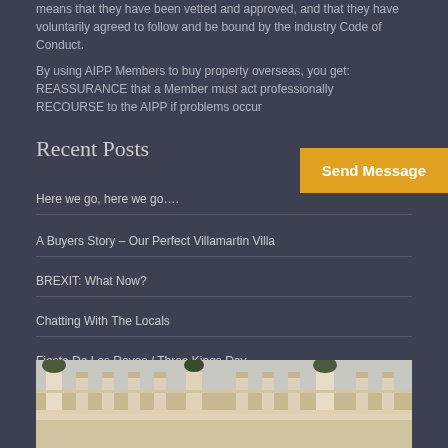means that they have been vetted and approved, and that they have voluntarily agreed to follow and be bound by the industry Code of Conduct.
By using AIPP Members to buy property overseas, you get: REASSURANCE that a Member must act professionally RECOURSE to the AIPP if problems occur
Recent Posts
Send Message
Here we go, here we go….
A Buyers Story – Our Perfect Villamartin Villa
BREXIT: What Now?
Chatting With The Locals
Fiesta De Los Reyes / Three Kings Day
[Figure (photo): Exterior view of a white Mediterranean-style property with balustrades and potted plants]